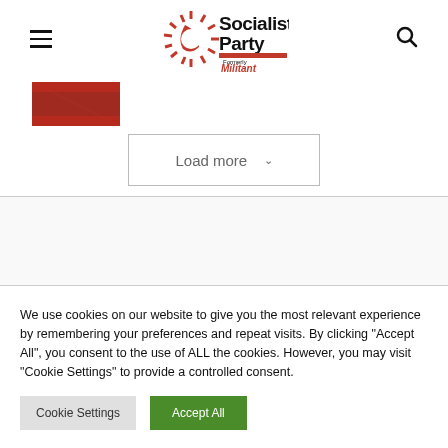Socialist Party (formerly Militant) website header with hamburger menu and search icon
[Figure (logo): Socialist Party logo with sunburst/star graphic and text 'Socialist Party Formerly Militant']
[Figure (photo): Small red thumbnail image strip]
Load more ∨
We use cookies on our website to give you the most relevant experience by remembering your preferences and repeat visits. By clicking "Accept All", you consent to the use of ALL the cookies. However, you may visit "Cookie Settings" to provide a controlled consent.
Cookie Settings
Accept All